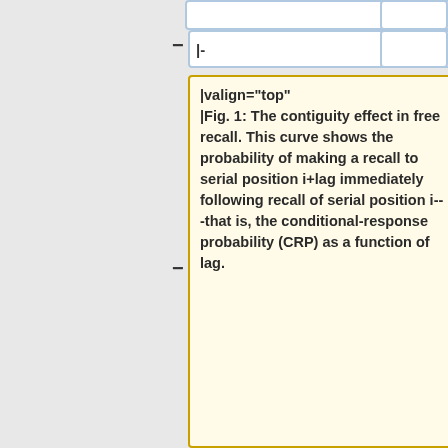- |-
|valign="top" |Fig. 1: The contiguity effect in free recall. This curve shows the probability of making a recall to serial position i+lag immediately following recall of serial position i---that is, the conditional-response probability (CRP) as a function of lag.